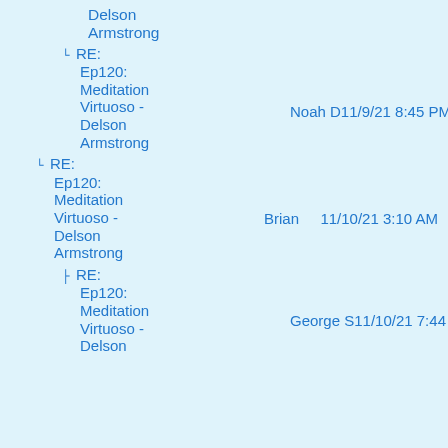Delson Armstrong
└ RE: Ep120: Meditation Virtuoso - Delson Armstrong | Noah D | 11/9/21 8:45 PM
└ RE: Ep120: Meditation Virtuoso - Delson Armstrong | Brian | 11/10/21 3:10 AM
├ RE: Ep120: Meditation Virtuoso - Delson | George S | 11/10/21 7:44 AM